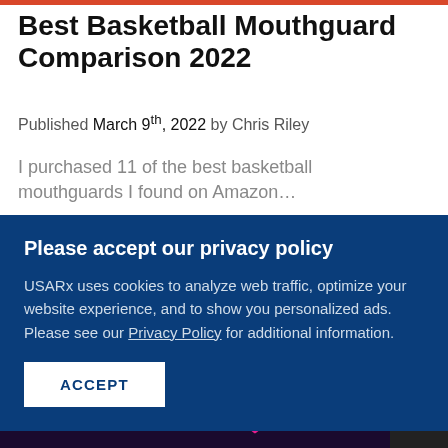Best Basketball Mouthguard Comparison 2022
Published March 9th, 2022 by Chris Riley
I purchased 11 of the best basketball mouthguards I found on Amazon…
Please accept our privacy policy
USARx uses cookies to analyze web traffic, optimize your website experience, and to show you personalized ads. Please see our Privacy Policy for additional information.
ACCEPT
[Figure (photo): Orange background with mouthguards visible at the bottom of the page]
let's show it some love